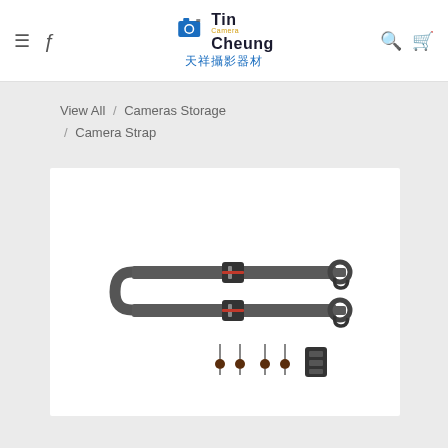Tin Cheung Camera 天祥攝影器材
View All / Cameras Storage / Camera Strap
[Figure (photo): A dark grey camera strap with two adjustment buckles with red accents, two metal end hooks, and a set of accessories (four anchor connectors and a small remote) laid out below the strap.]